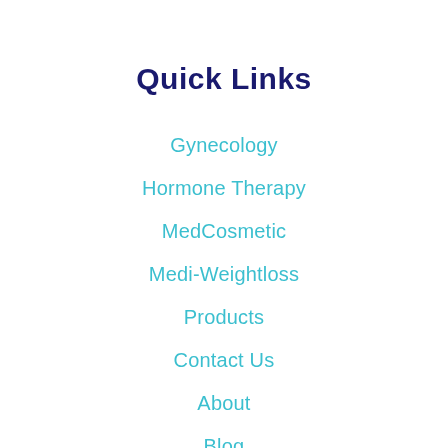Quick Links
Gynecology
Hormone Therapy
MedCosmetic
Medi-Weightloss
Products
Contact Us
About
Blog